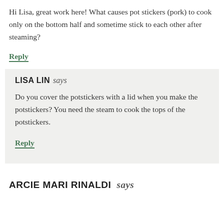Hi Lisa, great work here! What causes pot stickers (pork) to cook only on the bottom half and sometime stick to each other after steaming?
Reply
LISA LIN says
Do you cover the potstickers with a lid when you make the potstickers? You need the steam to cook the tops of the potstickers.
Reply
ARCIE MARI RINALDI says